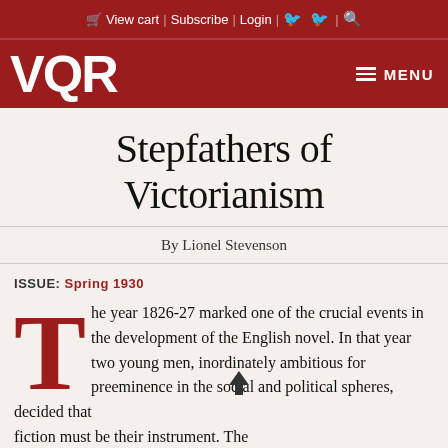View cart | Subscribe | Login | [facebook] [twitter] | [search]
[Figure (logo): VQR magazine logo in white on dark red background, with hamburger menu icon and MENU text on the right]
Stepfathers of Victorianism
By Lionel Stevenson
ISSUE: Spring 1930
The year 1826-27 marked one of the crucial events in the development of the English novel. In that year two young men, inordinately ambitious for preeminence in the social and political spheres, decided that fiction must be their instrument. The